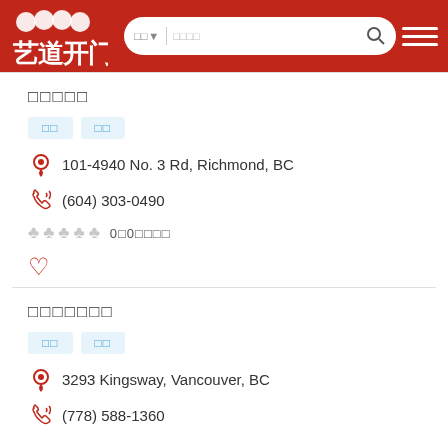[Figure (screenshot): Website header with red background, Chinese logo on left, search bar in center, hamburger menu icon on right]
□□□□□
□□  □□
101-4940 No. 3 Rd, Richmond, BC
(604) 303-0490
0□0□□□□
□□□□□□□
□□  □□
3293 Kingsway, Vancouver, BC
(778) 588-1360